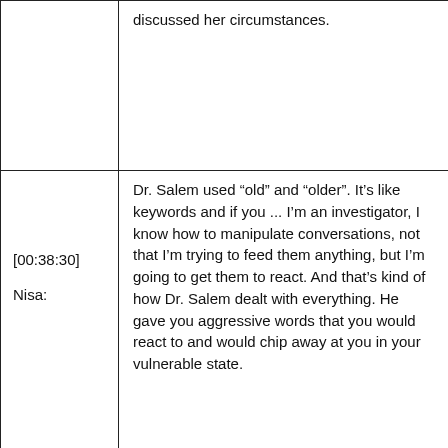|  | discussed her circumstances. |
| [00:38:30]

Nisa: | Dr. Salem used “old” and “older”. It’s like keywords and if you ... I’m an investigator, I know how to manipulate conversations, not that I’m trying to feed them anything, but I’m going to get them to react. And that’s kind of how Dr. Salem dealt with everything. He gave you aggressive words that you would react to and would chip away at you in your vulnerable state. |
|  | Nisa knew the desire to have a baby can lead |